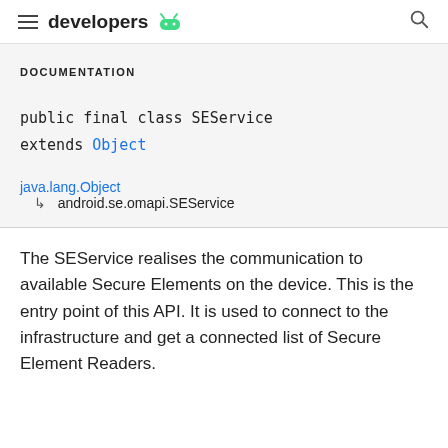developers [android logo]
DOCUMENTATION
public final class SEService
extends Object
java.lang.Object
↳  android.se.omapi.SEService
The SEService realises the communication to available Secure Elements on the device. This is the entry point of this API. It is used to connect to the infrastructure and get a connected list of Secure Element Readers.